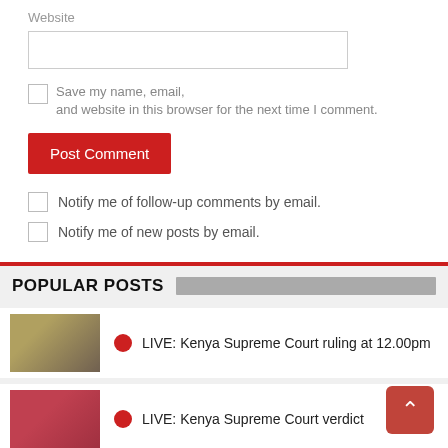Website
Save my name, email, and website in this browser for the next time I comment.
Post Comment
Notify me of follow-up comments by email.
Notify me of new posts by email.
POPULAR POSTS
LIVE: Kenya Supreme Court ruling at 12.00pm
LIVE: Kenya Supreme Court verdict
Salim Saleh's quiet revolution
CID in massive hunt for Sipapa over sh1.6 billion